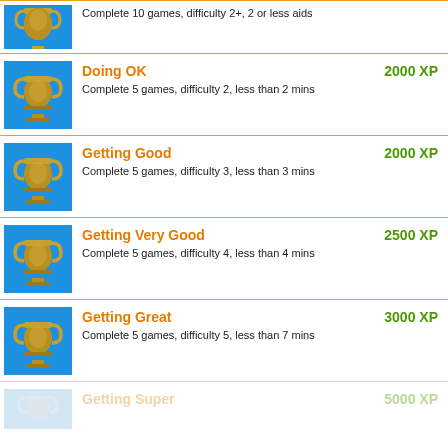Complete 10 games, difficulty 2+, 2 or less aids
Doing OK | 2000 XP | Complete 5 games, difficulty 2, less than 2 mins
Getting Good | 2000 XP | Complete 5 games, difficulty 3, less than 3 mins
Getting Very Good | 2500 XP | Complete 5 games, difficulty 4, less than 4 mins
Getting Great | 3000 XP | Complete 5 games, difficulty 5, less than 7 mins
Getting Super | 5000 XP